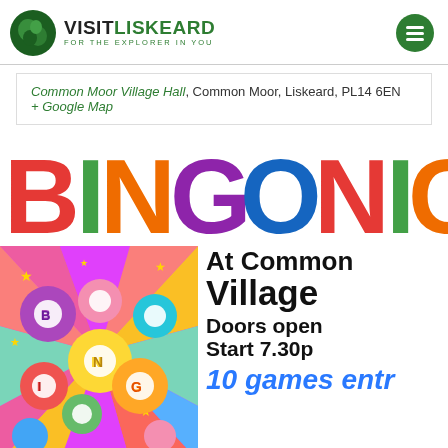VISITLISKEARD FOR THE EXPLORER IN YOU
Common Moor Village Hall, Common Moor, Liskeard, PL14 6EN
+ Google Map
[Figure (infographic): Colorful BINGO NIGHT text with large multi-colored letters (B=red, I=green, N=orange, G=purple, O=blue, N=red, I=green, G=orange) and a bingo event flyer showing bingo balls image on left, text on right: 'At Common Village [Hall] Doors open [7pm] Start 7.30[pm] 10 games entr[y]']